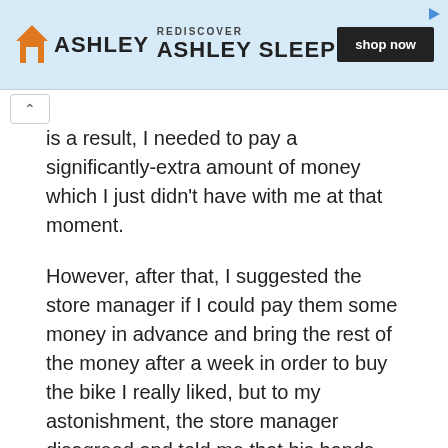[Figure (screenshot): Ashley Sleep advertisement banner with house logo, 'REDISCOVER ASHLEY SLEEP' text, and 'shop now' button on light blue background]
is a result, I needed to pay a significantly-extra amount of money which I just didn't have with me at that moment.
However, after that, I suggested the store manager if I could pay them some money in advance and bring the rest of the money after a week in order to buy the bike I really liked, but to my astonishment, the store manager disagreed and told me that his hands were tied!
Well, anyway, I felt really disappointed, to say the least, with what happened to me at the motorbike store mainly because it was a bit embarrassing for me. I also felt a bit annoyed at the store manager as he never told me about the possible price change should I had failed to buy the